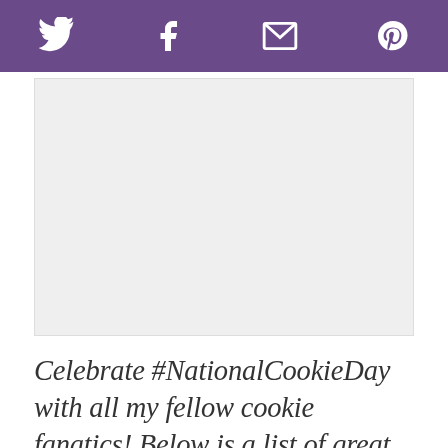[Twitter] [Facebook] [Email] [Pinterest] social share toolbar
[Figure (other): Light gray rectangular advertisement or image placeholder area]
Celebrate #NationalCookieDay with all my fellow cookie fanatics! Below is a list of great cookies to make this